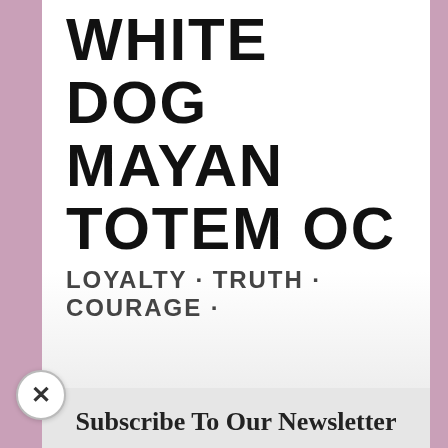WHITE DOG MAYAN TOTEM OC
LOYALTY · TRUTH · COURAGE ·
Subscribe To Our Newsletter
Join our mailing list to receive the latest news about events and offerings from Katherine Skaggs.